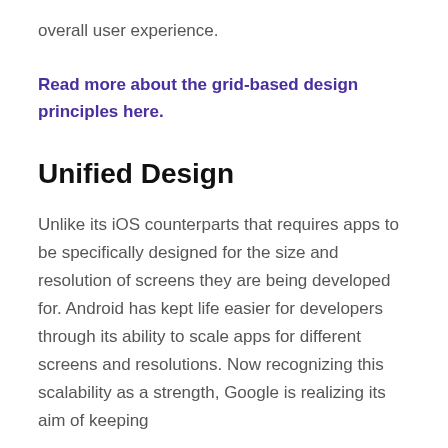overall user experience.
Read more about the grid-based design principles here.
Unified Design
Unlike its iOS counterparts that requires apps to be specifically designed for the size and resolution of screens they are being developed for. Android has kept life easier for developers through its ability to scale apps for different screens and resolutions. Now recognizing this scalability as a strength, Google is realizing its aim of keeping